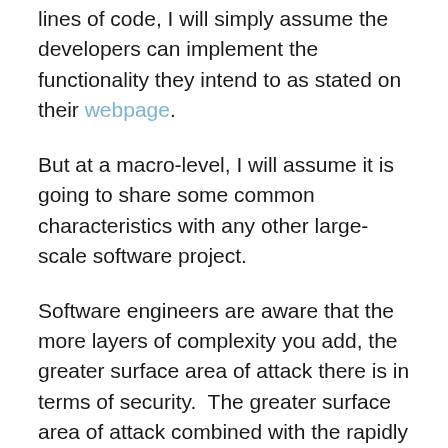lines of code, I will simply assume the developers can implement the functionality they intend to as stated on their webpage.
But at a macro-level, I will assume it is going to share some common characteristics with any other large-scale software project.
Software engineers are aware that the more layers of complexity you add, the greater surface area of attack there is in terms of security.  The greater surface area of attack combined with the rapidly growing stakes means that the underlying code must be rock solid. One mistake will have multi-billion dollar consequences.  This is not affecting just a single corporation anymore, this is affecting a whole bunch of lay-investors that have no idea what they